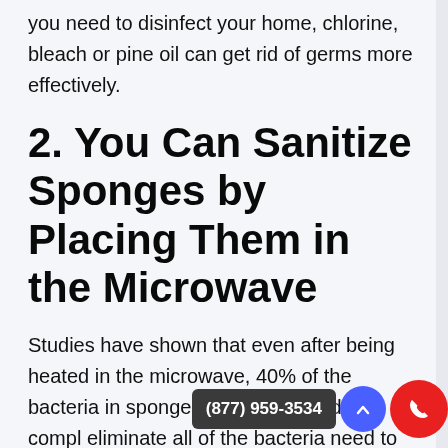you need to disinfect your home, chlorine, bleach or pine oil can get rid of germs more effectively.
2. You Can Sanitize Sponges by Placing Them in the Microwave
Studies have shown that even after being heated in the microwave, 40% of the bacteria in sponges remined. In order to compl eliminate all of the bacteria need to be exposed to scorching